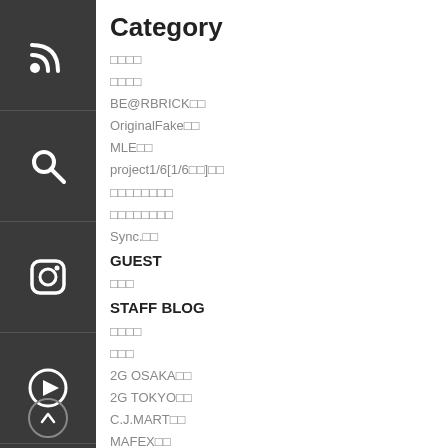Category
□□□□
□□□□
BE@RBRICK□□
OriginalFake□□
MLE□□
project1/6[1/6□□]□□
□□□□□□□□
□□□□□□□□
Sync.□□
GUEST
□□□
STAFF BLOG
□□□□
□□□
2G OSAKA□□
2G TOKYO□□
C.J.MART□□
MAFEX□□
MEDICOM TOY PLUS NAGOYA□□
MEDICOM TOY PLUS□□
sofvi.tokyo□□
VCD□□
Archives